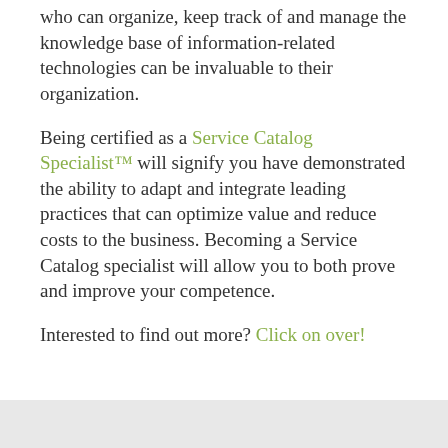who can organize, keep track of and manage the knowledge base of information-related technologies can be invaluable to their organization.
Being certified as a Service Catalog Specialist™ will signify you have demonstrated the ability to adapt and integrate leading practices that can optimize value and reduce costs to the business. Becoming a Service Catalog specialist will allow you to both prove and improve your competence.
Interested to find out more? Click on over!